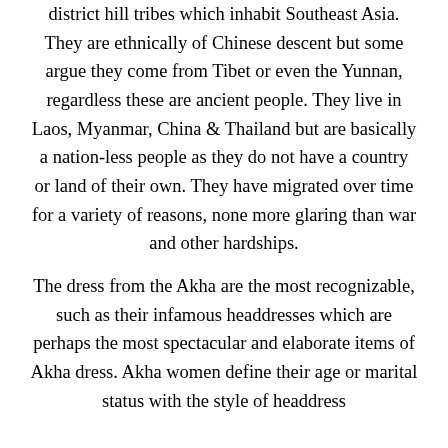district hill tribes which inhabit Southeast Asia. They are ethnically of Chinese descent but some argue they come from Tibet or even the Yunnan, regardless these are ancient people. They live in Laos, Myanmar, China & Thailand but are basically a nation-less people as they do not have a country or land of their own. They have migrated over time for a variety of reasons, none more glaring than war and other hardships.
The dress from the Akha are the most recognizable, such as their infamous headdresses which are perhaps the most spectacular and elaborate items of Akha dress. Akha women define their age or marital status with the style of headdress